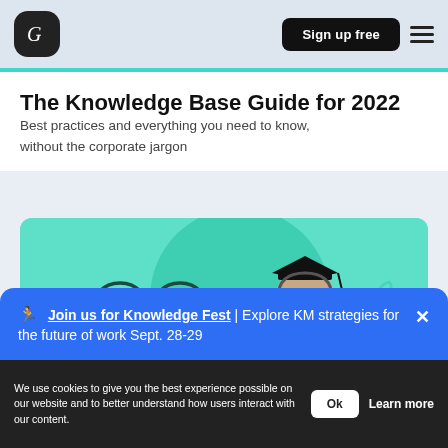Grammarly logo | Sign up free | Menu
The Knowledge Base Guide for 2022
Best practices and everything you need to know, without the corporate jargon
[Figure (illustration): Illustrated hero image with a man wearing a graduation cap and headphones, large eyeglasses icon on the left, teal/mint green background]
🏃 Join us for Knowledge Fest | Explore KM strategies for the future of work Sept. 28-29
We use cookies to give you the best experience possible on our website and to better understand how users interact with our content.
Ok  Learn more